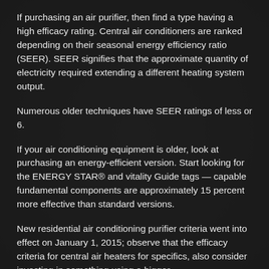If purchasing an air purifier, then find a type having a high efficacy rating. Central air conditioners are ranked depending on their seasonal energy efficiency ratio (SEER). SEER signifies that the approximate quantity of electricity required extending a different heating system output.
Numerous older techniques have SEER ratings of less or 6.
If your air conditioning equipment is older, look at purchasing an energy-efficient version. Start looking for the ENERGY STAR® and vitality Guide tags — capable fundamental components are approximately 15 percent more effective than standard versions.
New residential air conditioning purifier criteria went into effect on January 1, 2015; observe that the efficacy criteria for central air heaters for specifics, also consider investing in something using a bigger